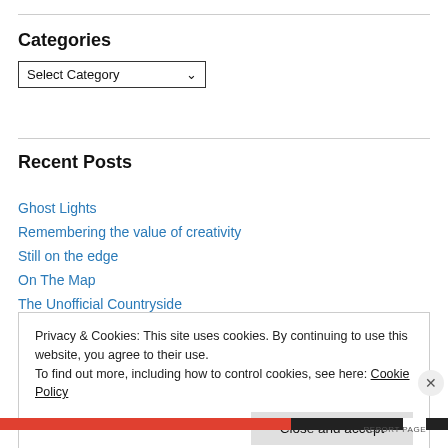Categories
Select Category
Recent Posts
Ghost Lights
Remembering the value of creativity
Still on the edge
On The Map
The Unofficial Countryside
Privacy & Cookies: This site uses cookies. By continuing to use this website, you agree to their use.
To find out more, including how to control cookies, see here: Cookie Policy
Close and accept